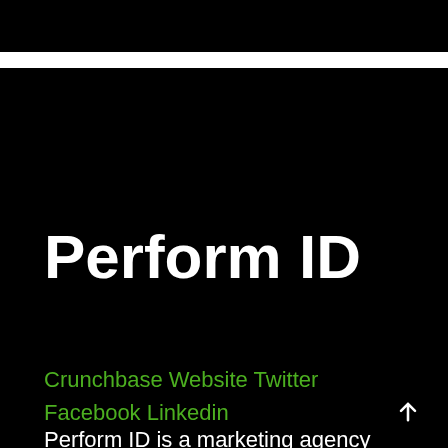Perform ID
Crunchbase Website Twitter Facebook Linkedin
Perform ID is a marketing agency which provides services like affiliate marketing, media planning, publishing and advertising